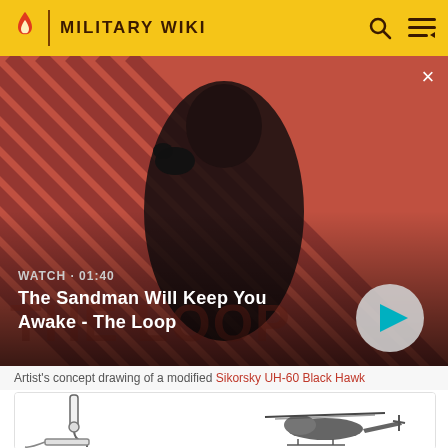MILITARY WIKI
[Figure (screenshot): Video banner for 'The Sandman Will Keep You Awake - The Loop' showing a pale figure in black with a raven on shoulder against a red diagonal striped background. WATCH · 01:40 label and a play button.]
Artist's concept drawing of a modified Sikorsky UH-60 Black Hawk
[Figure (illustration): Technical illustration of a modified helicopter component and a Sikorsky UH-60 Black Hawk helicopter silhouette]